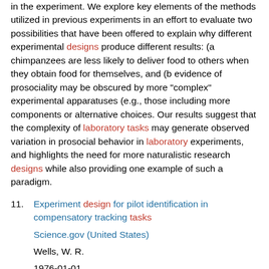in the experiment. We explore key elements of the methods utilized in previous experiments in an effort to evaluate two possibilities that have been offered to explain why different experimental designs produce different results: (a chimpanzees are less likely to deliver food to others when they obtain food for themselves, and (b evidence of prosociality may be obscured by more "complex" experimental apparatuses (e.g., those including more components or alternative choices. Our results suggest that the complexity of laboratory tasks may generate observed variation in prosocial behavior in laboratory experiments, and highlights the need for more naturalistic research designs while also providing one example of such a paradigm.
11. Experiment design for pilot identification in compensatory tracking tasks
Science.gov (United States)
Wells, W. R.
1976-01-01
A design criterion for input functions in laboratory tracking tasks resulting in efficient parameter estimation is formulated. The